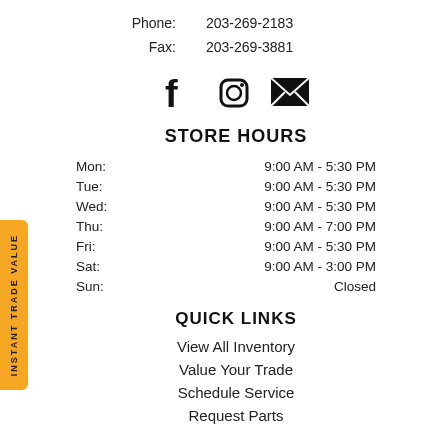Phone: 203-269-2183
Fax: 203-269-3881
[Figure (illustration): Social media icons: Facebook, Instagram, Email/Envelope]
STORE HOURS
| Mon: | 9:00 AM - 5:30 PM |
| Tue: | 9:00 AM - 5:30 PM |
| Wed: | 9:00 AM - 5:30 PM |
| Thu: | 9:00 AM - 7:00 PM |
| Fri: | 9:00 AM - 5:30 PM |
| Sat: | 9:00 AM - 3:00 PM |
| Sun: | Closed |
QUICK LINKS
View All Inventory
Value Your Trade
Schedule Service
Request Parts